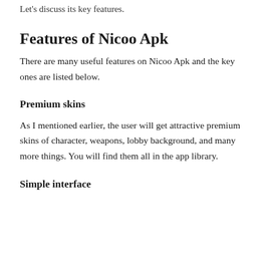Let's discuss its key features.
Features of Nicoo Apk
There are many useful features on Nicoo Apk and the key ones are listed below.
Premium skins
As I mentioned earlier, the user will get attractive premium skins of character, weapons, lobby background, and many more things. You will find them all in the app library.
Simple interface